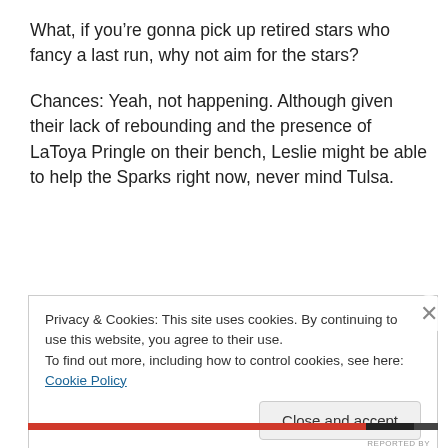What, if you’re gonna pick up retired stars who fancy a last run, why not aim for the stars?
Chances: Yeah, not happening. Although given their lack of rebounding and the presence of LaToya Pringle on their bench, Leslie might be able to help the Sparks right now, never mind Tulsa.
Privacy & Cookies: This site uses cookies. By continuing to use this website, you agree to their use.
To find out more, including how to control cookies, see here: Cookie Policy
Close and accept